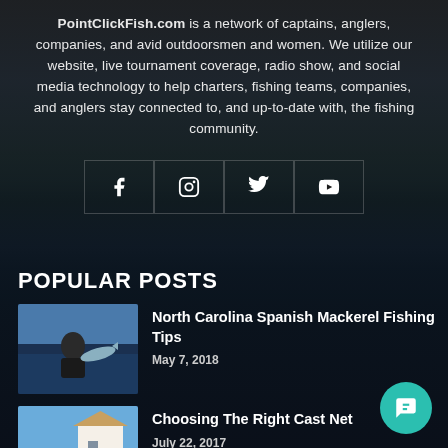PointClickFish.com is a network of captains, anglers, companies, and avid outdoorsmen and women. We utilize our website, live tournament coverage, radio show, and social media technology to help charters, fishing teams, companies, and anglers stay connected to, and up-to-date with, the fishing community.
[Figure (infographic): Social media icons: Facebook, Instagram, Twitter, YouTube in bordered boxes]
POPULAR POSTS
[Figure (photo): Man holding a large fish (Spanish Mackerel)]
North Carolina Spanish Mackerel Fishing Tips
May 7, 2018
[Figure (photo): Person on a dock near waterfront houses]
Choosing The Right Cast Net
July 22, 2017